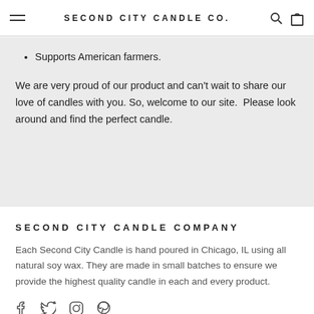SECOND CITY CANDLE CO.
Supports American farmers.
We are very proud of our product and can't wait to share our love of candles with you. So, welcome to our site.  Please look around and find the perfect candle.
SECOND CITY CANDLE COMPANY
Each Second City Candle is hand poured in Chicago, IL using all natural soy wax. They are made in small batches to ensure we provide the highest quality candle in each and every product.
[Figure (other): Social media icons: Facebook, Twitter, Instagram, Pinterest]